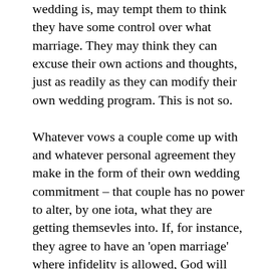wedding is, may tempt them to think they have some control over what marriage. They may think they can excuse their own actions and thoughts, just as readily as they can modify their own wedding program. This is not so.

Whatever vows a couple come up with and whatever personal agreement they make in the form of their own wedding commitment – that couple has no power to alter, by one iota, what they are getting themsevles into. If, for instance, they agree to have an 'open marriage' where infidelity is allowed, God will ignore their arrangement and judge them based on what they did with what God created as a reflection of Christ and the Church. If the couple choose, as I know of some that have, that their marriage is not subject to the cultural mores of their family, and they will enter into a secret and